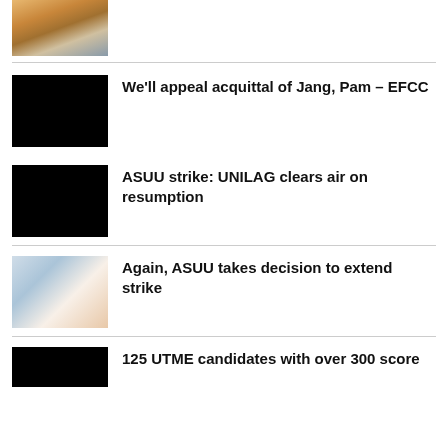[Figure (photo): Partial view of a news article thumbnail showing a city/industrial scene at top of page]
[Figure (photo): Black thumbnail image for EFCC article]
We'll appeal acquittal of Jang, Pam – EFCC
[Figure (photo): Black thumbnail image for ASUU UNILAG article]
ASUU strike: UNILAG clears air on resumption
[Figure (photo): Photo of a person at a meeting for ASUU strike article]
Again, ASUU takes decision to extend strike
[Figure (photo): Black thumbnail image for UTME article]
125 UTME candidates with over 300 score